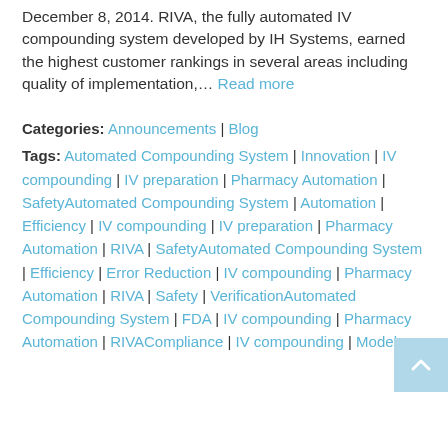December 8, 2014. RIVA, the fully automated IV compounding system developed by IH Systems, earned the highest customer rankings in several areas including quality of implementation,… Read more
Categories: Announcements | Blog
Tags: Automated Compounding System | Innovation | IV compounding | IV preparation | Pharmacy Automation | SafetyAutomated Compounding System | Automation | Efficiency | IV compounding | IV preparation | Pharmacy Automation | RIVA | SafetyAutomated Compounding System | Efficiency | Error Reduction | IV compounding | Pharmacy Automation | RIVA | Safety | VerificationAutomated Compounding System | FDA | IV compounding | Pharmacy Automation | RIVACompliance | IV compounding | Model